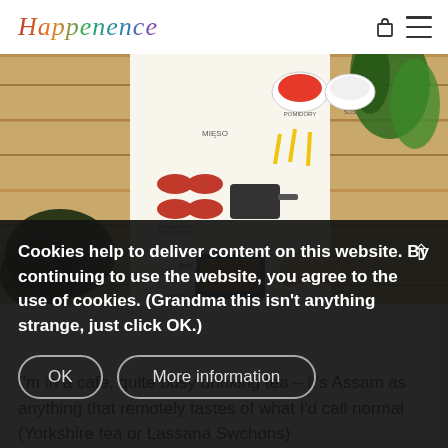Happenence
[Figure (illustration): Partial view of a cooking infographic showing ingredients and steps for making burgers/patties, with Polish text labels (MIESO, KOS, UFORMOWAC DRABALE TUBA, SMAC, etc.), set against a wooden plank background with herbs.]
Cookies help to deliver content on this website. By continuing to use the website, you agree to the use of cookies. (Grandma this isn't anything strange, just click OK.)
I'm in a cafe, quite busy drinking tea – it's Assam as anything that remotely tastes of what I'd call normal (Yorkshire tea or Lassana Swchons)